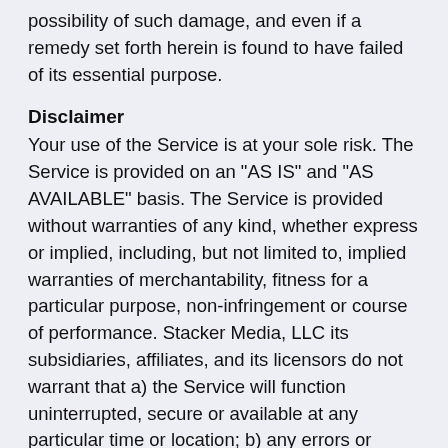possibility of such damage, and even if a remedy set forth herein is found to have failed of its essential purpose.
Disclaimer
Your use of the Service is at your sole risk. The Service is provided on an "AS IS" and "AS AVAILABLE" basis. The Service is provided without warranties of any kind, whether express or implied, including, but not limited to, implied warranties of merchantability, fitness for a particular purpose, non-infringement or course of performance. Stacker Media, LLC its subsidiaries, affiliates, and its licensors do not warrant that a) the Service will function uninterrupted, secure or available at any particular time or location; b) any errors or defects will be corrected; c) the Service is free of viruses or other harmful components; or d) the results of using the Service will meet your